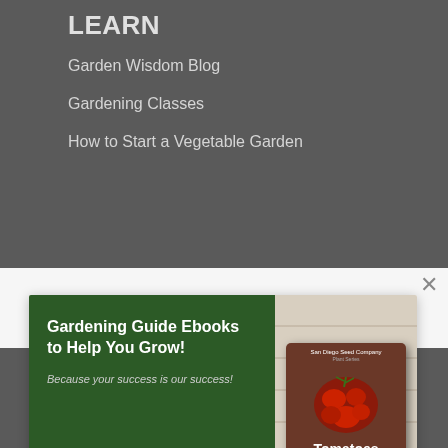LEARN
Garden Wisdom Blog
Gardening Classes
How to Start a Vegetable Garden
[Figure (screenshot): Popup ad for San Diego Seed Company Gardening Guide Ebooks featuring a tomatoes ebook cover. Text: 'Gardening Guide Ebooks to Help You Grow! Because your success is our success!' with an orange button 'Learn more and sign up'. Close X button in upper right.]
FAQ
My Account
Privacy Policy
Terms of Service
[Figure (logo): OptinMonster logo bar at bottom left]